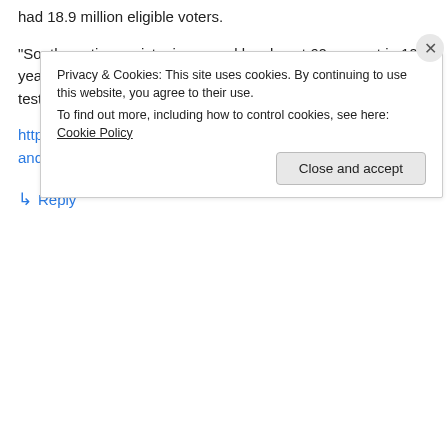had 18.9 million eligible voters.
“So, the voting registry increased by almost 60 percent in 10 years. Quite a population boom!,” Dallen said in his prepared testimony.”
http://www.miamiherald.com/news/local/news-columns-blogs/andres-oppenheimer/article16515473.html
↳ Reply
Privacy & Cookies: This site uses cookies. By continuing to use this website, you agree to their use.
To find out more, including how to control cookies, see here: Cookie Policy
Close and accept